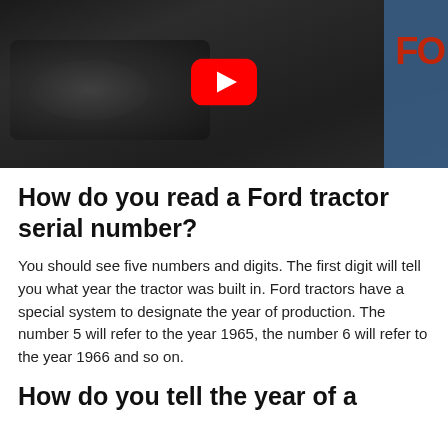[Figure (screenshot): YouTube video thumbnail showing a Ford tractor engine/body in dark setting with YouTube play button overlay]
How do you read a Ford tractor serial number?
You should see five numbers and digits. The first digit will tell you what year the tractor was built in. Ford tractors have a special system to designate the year of production. The number 5 will refer to the year 1965, the number 6 will refer to the year 1966 and so on.
How do you tell the year of a